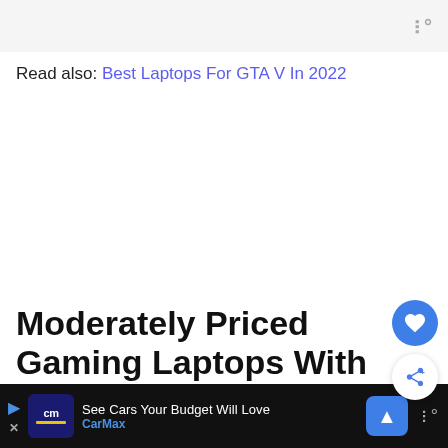Read also: Best Laptops For GTA V In 2022
[Figure (other): Advertisement whitespace area]
Moderately Priced Gaming Laptops With Good Features
Acer Aspire 5 Windows 11 Home Laptop
[Figure (other): Bottom ad banner: CarMax - See Cars Your Budget Will Love]